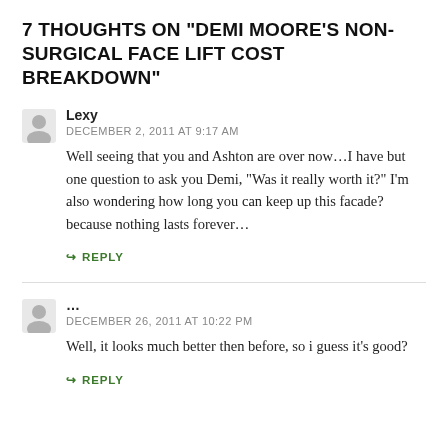7 THOUGHTS ON "DEMI MOORE'S NON-SURGICAL FACE LIFT COST BREAKDOWN"
Lexy
DECEMBER 2, 2011 AT 9:17 AM
Well seeing that you and Ashton are over now…I have but one question to ask you Demi, "Was it really worth it?" I'm also wondering how long you can keep up this facade? because nothing lasts forever…
↳ REPLY
…
DECEMBER 26, 2011 AT 10:22 PM
Well, it looks much better then before, so i guess it's good?
↳ REPLY